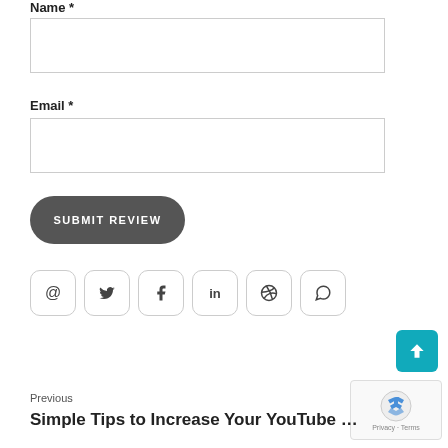Name *
[Figure (screenshot): Empty text input field for Name]
Email *
[Figure (screenshot): Empty text input field for Email]
SUBMIT REVIEW
[Figure (infographic): Social sharing icons: email (@), Twitter, Facebook, LinkedIn, Pinterest, WhatsApp]
[Figure (screenshot): Scroll-to-top button (teal with up arrow chevron) and reCAPTCHA badge]
Previous
Simple Tips to Increase Your YouTube Vid…